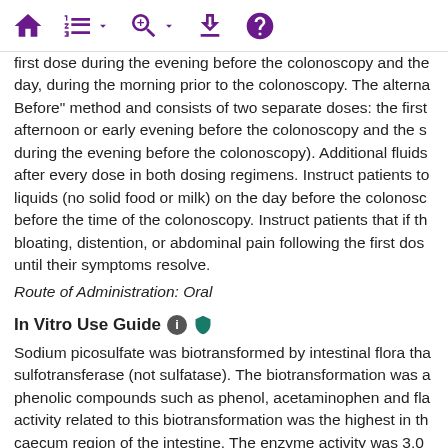[Toolbar with navigation icons: home, list, search, download, help]
first dose during the evening before the colonoscopy and the day, during the morning prior to the colonoscopy. The alternative "Before" method and consists of two separate doses: the first afternoon or early evening before the colonoscopy and the s during the evening before the colonoscopy). Additional fluids after every dose in both dosing regimens. Instruct patients to liquids (no solid food or milk) on the day before the colonosc before the time of the colonoscopy. Instruct patients that if th bloating, distention, or abdominal pain following the first dos until their symptoms resolve.
Route of Administration: Oral
In Vitro Use Guide
Sodium picosulfate was biotransformed by intestinal flora tha sulfotransferase (not sulfatase). The biotransformation was a phenolic compounds such as phenol, acetaminophen and fla activity related to this biotransformation was the highest in th caecum region of the intestine. The enzyme activity was 3.0 humans and 0.75 in rats (pH 8.0). The optimal pH was 9.0. T activity was assayed in reaction mixture consisting of 60 uL (presumably sodium picosulfate) to a rinse and 0.2 mL of the